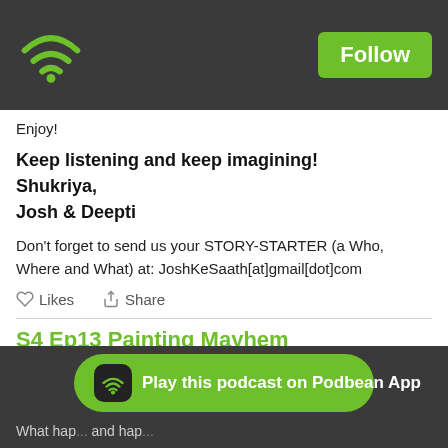[Figure (screenshot): Podbean podcast app page showing wifi/podcast icon and Follow button in dark header]
Enjoy!
Keep listening and keep imagining!
Shukriya,
Josh & Deepti
Don't forget to send us your STORY-STARTER (a Who, Where and What) at: JoshKeSaath[at]gmail[dot]com
Likes   Share
S4 Ep13 Painting Mayhem
[Figure (logo): PodBean logo with wifi arc icon]
Play this podcast on Podbean App
What hap... and hap...